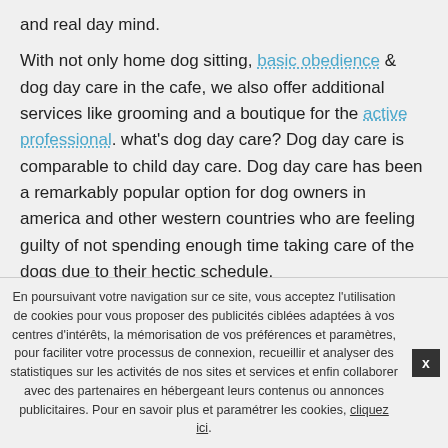and real day mind.
With not only home dog sitting, basic obedience & dog day care in the cafe, we also offer additional services like grooming and a boutique for the active professional. what's dog day care? Dog day care is comparable to child day care. Dog day care has been a remarkably popular option for dog owners in america and other western countries who are feeling guilty of not spending enough time taking care of the dogs due to their hectic schedule.
Day care for puppies are popping up around perth, assisting reduce the guilt of pet owners who do not need to leave their pets independently at home. Dogs not
En poursuivant votre navigation sur ce site, vous acceptez l'utilisation de cookies pour vous proposer des publicités ciblées adaptées à vos centres d'intérêts, la mémorisation de vos préférences et paramètres, pour faciliter votre processus de connexion, recueillir et analyser des statistiques sur les activités de nos sites et services et enfin collaborer avec des partenaires en hébergeant leurs contenus ou annonces publicitaires. Pour en savoir plus et paramétrer les cookies, cliquez ici.